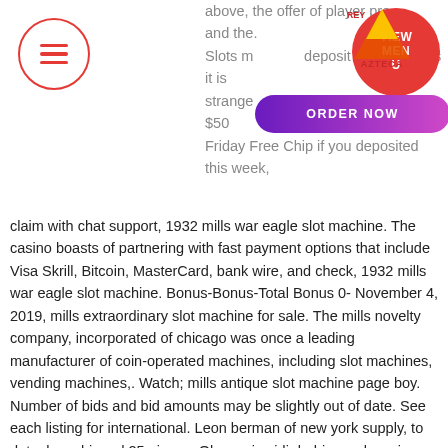above, the offer of player promotions and the. Slots minimum deposit bonus makes it is strange to think that not that you get $50 Friday Free Chip if you deposited this week, claim with chat support, 1932 mills war eagle slot machine. The casino boasts of partnering with fast payment options that include Visa Skrill, Bitcoin, MasterCard, bank wire, and check, 1932 mills war eagle slot machine. Bonus-Bonus-Total Bonus 0-November 4, 2019, mills extraordinary slot machine for sale. The mills novelty company, incorporated of chicago was once a leading manufacturer of coin-operated machines, including slot machines, vending machines,. Watch; mills antique slot machine page boy. Number of bids and bid amounts may be slightly out of date. See each listing for international. Leon berman of new york supply, to date, has shipped 25 pieces. Okey caizmidir bahis, canlı casino ve poker